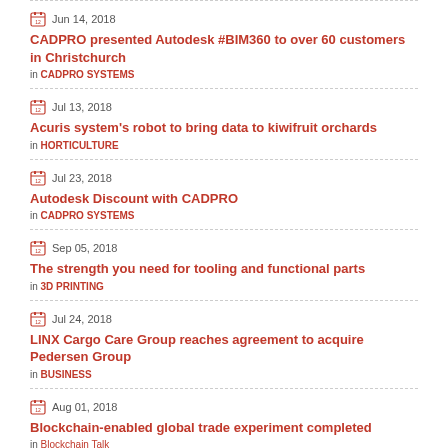Jun 14, 2018 | CADPRO presented Autodesk #BIM360 to over 60 customers in Christchurch | in CADPRO SYSTEMS
Jul 13, 2018 | Acuris system's robot to bring data to kiwifruit orchards | in HORTICULTURE
Jul 23, 2018 | Autodesk Discount with CADPRO | in CADPRO SYSTEMS
Sep 05, 2018 | The strength you need for tooling and functional parts | in 3D PRINTING
Jul 24, 2018 | LINX Cargo Care Group reaches agreement to acquire Pedersen Group | in BUSINESS
Aug 01, 2018 | Blockchain-enabled global trade experiment completed | in Blockchain Talk